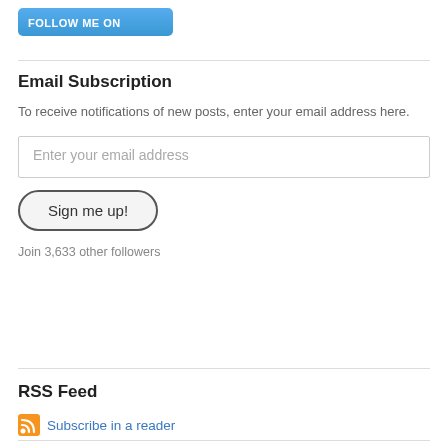[Figure (logo): Follow me on Twitter button with blue gradient background and Twitter bird logo]
Email Subscription
To receive notifications of new posts, enter your email address here.
Enter your email address
Sign me up!
Join 3,633 other followers
RSS Feed
Subscribe in a reader